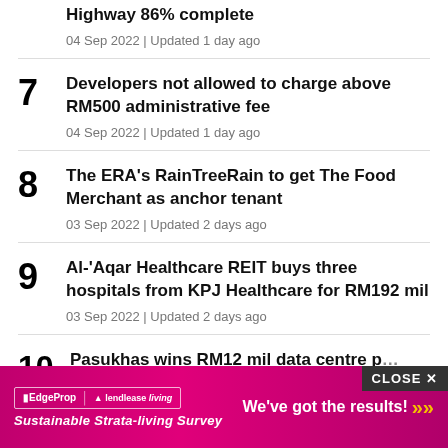Highway 86% complete — 04 Sep 2022 | Updated 1 day ago
7 Developers not allowed to charge above RM500 administrative fee — 04 Sep 2022 | Updated 1 day ago
8 The ERA's RainTreeRain to get The Food Merchant as anchor tenant — 03 Sep 2022 | Updated 2 days ago
9 Al-'Aqar Healthcare REIT buys three hospitals from KPJ Healthcare for RM192 mil — 03 Sep 2022 | Updated 2 days ago
10 Pasukhas wins RM12 mil data centre p...
[Figure (screenshot): Advertisement banner for EdgeProp and Lendlease Living Sustainable Strata-living Survey with text 'We've got the results!' and a CLOSE button]